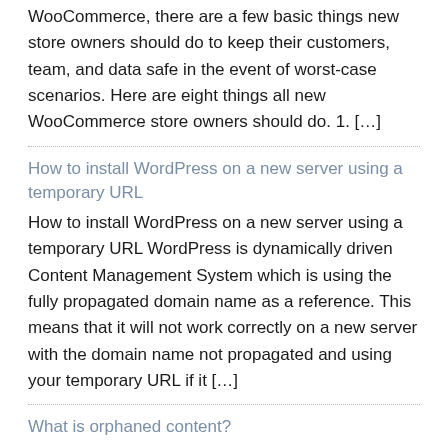WooCommerce, there are a few basic things new store owners should do to keep their customers, team, and data safe in the event of worst-case scenarios. Here are eight things all new WooCommerce store owners should do. 1. […]
How to install WordPress on a new server using a temporary URL
How to install WordPress on a new server using a temporary URL WordPress is dynamically driven Content Management System which is using the fully propagated domain name as a reference. This means that it will not work correctly on a new server with the domain name not propagated and using your temporary URL if it […]
What is orphaned content?
What is orphaned content? If you want your content to rank in Google, it needs to know about the existence of that content. That means that you (or another site) should link to this content. Google follows these links and saves every post or